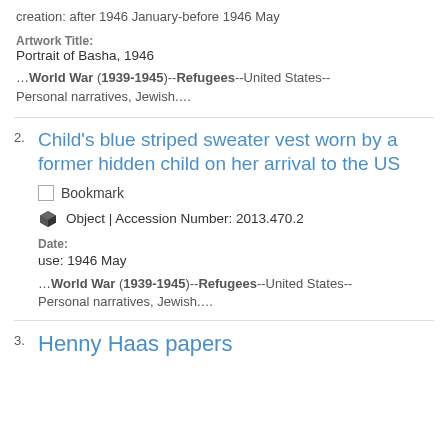creation: after 1946 January-before 1946 May
Artwork Title:
Portrait of Basha, 1946
…World War (1939-1945)--Refugees--United States--Personal narratives, Jewish.…
2. Child's blue striped sweater vest worn by a former hidden child on her arrival to the US
Bookmark
Object | Accession Number: 2013.470.2
Date:
use: 1946 May
…World War (1939-1945)--Refugees--United States--Personal narratives, Jewish.…
3. Henny Haas papers